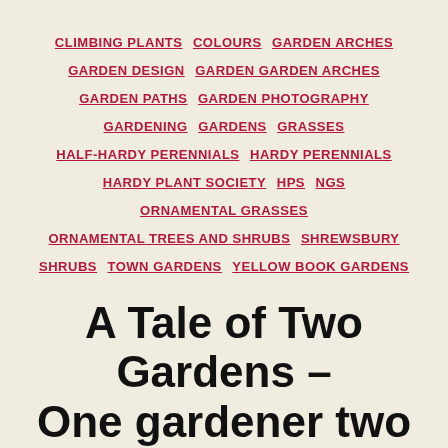CLIMBING PLANTS  COLOURS  GARDEN ARCHES  GARDEN DESIGN  GARDEN GARDEN ARCHES  GARDEN PATHS  GARDEN PHOTOGRAPHY  GARDENING  GARDENS  GRASSES  HALF-HARDY PERENNIALS  HARDY PERENNIALS  HARDY PLANT SOCIETY  HPS  NGS  ORNAMENTAL GRASSES  ORNAMENTAL TREES AND SHRUBS  SHREWSBURY  SHRUBS  TOWN GARDENS  YELLOW BOOK GARDENS
A Tale of Two Gardens – One gardener two gardens!
By greenbenchramblings    August 29, 2019